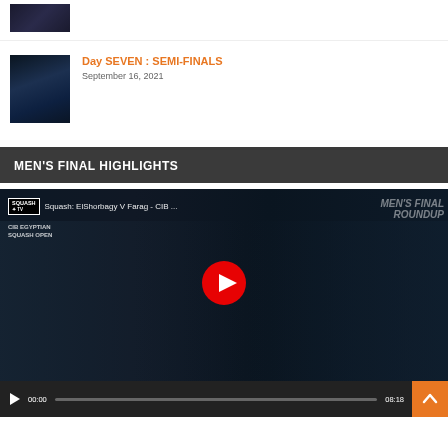[Figure (photo): Thumbnail image of squash event with crowd and lighting, dark tones]
[Figure (photo): Thumbnail image of squash arena with dramatic blue and purple lighting]
Day SEVEN : SEMI-FINALS
September 16, 2021
MEN'S FINAL HIGHLIGHTS
[Figure (screenshot): YouTube video embed showing squash match between ElShorbagy and Farag - CIB Egyptian Squash Open, with red play button overlay. Video timestamp 00:00, duration 08:18.]